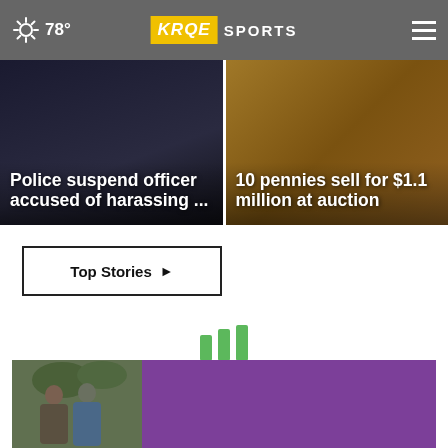78° KRQE SPORTS
[Figure (screenshot): News card: Police suspend officer accused of harassing ...]
[Figure (screenshot): News card: 10 pennies sell for $1.1 million at auction]
Top Stories ▶
[Figure (infographic): Loading animation bars in green]
[Figure (photo): Advertisement banner with two people and purple background]